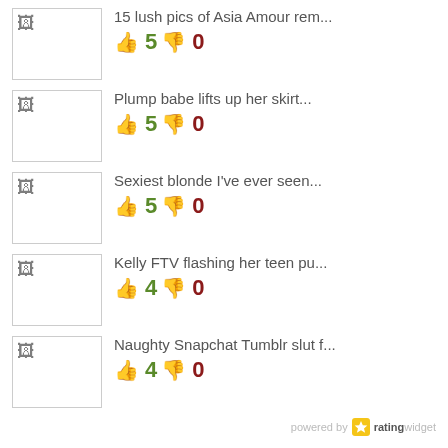15 lush pics of Asia Amour rem... 👍 5 👎 0
Plump babe lifts up her skirt... 👍 5 👎 0
Sexiest blonde I've ever seen... 👍 5 👎 0
Kelly FTV flashing her teen pu... 👍 4 👎 0
Naughty Snapchat Tumblr slut f... 👍 4 👎 0
powered by ratingwidget
Archives
September 2021